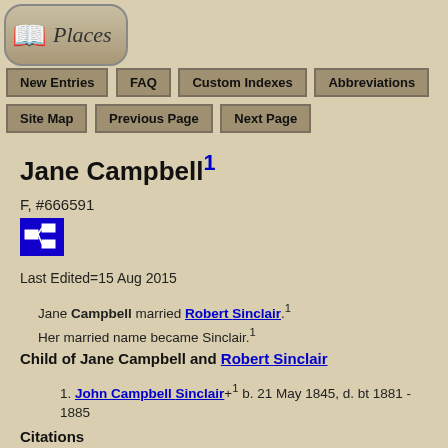[Figure (logo): Places logo with book/scroll icon in rounded rectangle]
New Entries | FAQ | Custom Indexes | Abbreviations | Site Map | Previous Page | Next Page
Jane Campbell1
F, #666591
[Figure (other): Blue pedigree/tree icon button]
Last Edited=15 Aug 2015
Jane Campbell married Robert Sinclair.1 Her married name became Sinclair.1
Child of Jane Campbell and Robert Sinclair
1. John Campbell Sinclair+1 b. 21 May 1845, d. bt 1881 - 1885
Citations